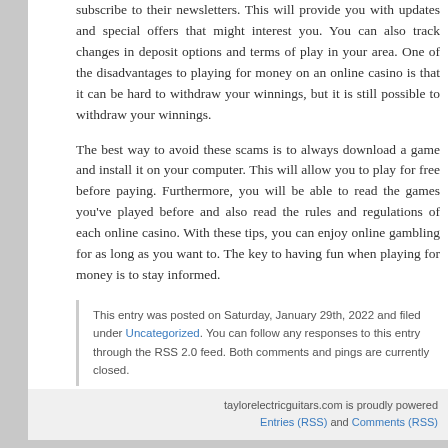subscribe to their newsletters. This will provide you w... and special offers that might interest you. You car... changes in deposit options and terms of play in your... disadvantages to playing for money on an online c... withdraw your winnings, but it is still possible to withdr...
The best way to avoid these scams is to always d... install it on your computer. This will allow you to play f... Furthermore, you will be able to read the games yo... also read the rules and regulations of each online c... can enjoy online gambling for as long as you want to... when playing for money is to stay informed.
This entry was posted on Saturday, January 29th, 2022 a... Uncategorized. You can follow any responses to this entr... Both comments and pings are currently closed.
Comments are closed.
taylorelectricguitars.com is proudly powered ... Entries (RSS) and Comments (RS...